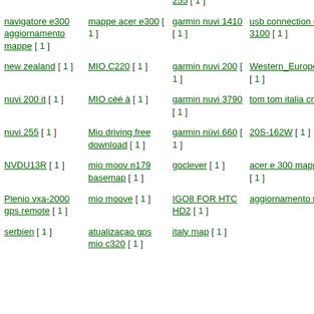255 [ 1 ]
navigatore e300 aggiornamento mappe [ 1 ]
mappe acer e300 [ 1 ]
garmin nuvi 1410 [ 1 ]
usb connection driver myguide 3100 [ 1 ]
new zealand [ 1 ]
MIO C220 [ 1 ]
garmin nuvi 200 [ 1 ]
Western_Europe_1GB_845_26 [ 1 ]
nuvi 200 it [ 1 ]
MIO céé à [ 1 ]
garmin nuvi 3790 [ 1 ]
tom tom italia crack [ 1 ]
nuvi 255 [ 1 ]
Mio driving free download [ 1 ]
garmin nüvi 660 [ 1 ]
20S-162W [ 1 ]
NVDU13R [ 1 ]
mio moov n179 basemap [ 1 ]
goclever [ 1 ]
acer e 300 mappe megaupload [ 1 ]
Plenio vxa-2000 gps remote [ 1 ]
mio moove [ 1 ]
IGO8 FOR HTC HD2 [ 1 ]
aggiornamento mappe [ 1 ]
serbien [ 1 ]
atualizaçao gps mio c320 [ 1 ]
italy map [ 1 ]